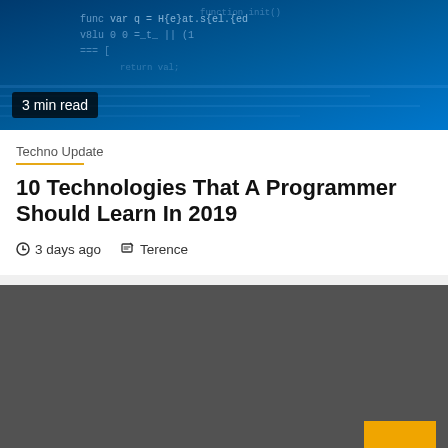[Figure (screenshot): Blue-tinted code/programming background image with code text visible]
3 min read
Techno Update
10 Technologies That A Programmer Should Learn In 2019
3 days ago   Terence
[Figure (screenshot): Dark grey section of a webpage with a yellow scroll-to-top button in the bottom right]